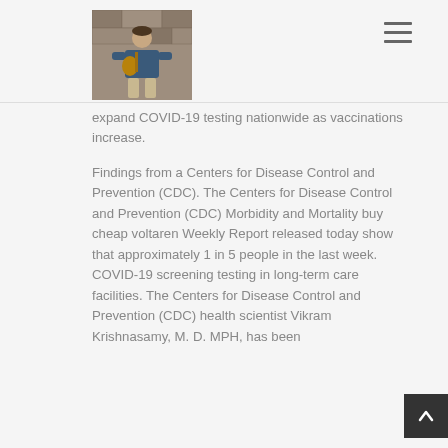[Figure (photo): Photo of a man sitting against a stone wall playing a ukulele, wearing a blue shirt]
expand COVID-19 testing nationwide as vaccinations increase.
Findings from a Centers for Disease Control and Prevention (CDC). The Centers for Disease Control and Prevention (CDC) Morbidity and Mortality buy cheap voltaren Weekly Report released today show that approximately 1 in 5 people in the last week. COVID-19 screening testing in long-term care facilities. The Centers for Disease Control and Prevention (CDC) health scientist Vikram Krishnasamy, M. D. MPH, has been